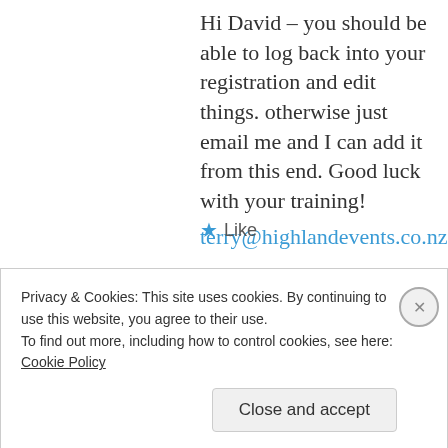Hi David – you should be able to log back into your registration and edit things. otherwise just email me and I can add it from this end. Good luck with your training! terry@highlandevents.co.nz
★ Like
Reply
David Hansen
May 16, 2015 at 8:15 am
Privacy & Cookies: This site uses cookies. By continuing to use this website, you agree to their use.
To find out more, including how to control cookies, see here: Cookie Policy
Close and accept